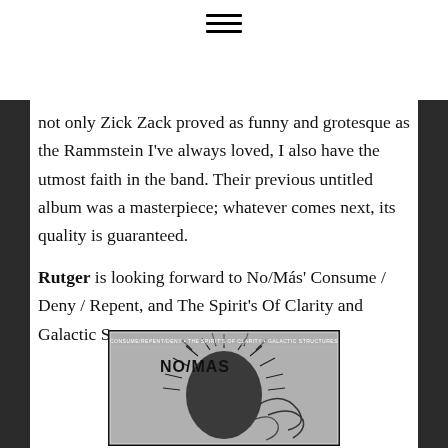☰
not only Zick Zack proved as funny and grotesque as the Rammstein I've always loved, I also have the utmost faith in the band. Their previous untitled album was a masterpiece; whatever comes next, its quality is guaranteed.
Rutger is looking forward to No/Más' Consume / Deny / Repent, and The Spirit's Of Clarity and Galactic Structures:
[Figure (photo): Black and white album cover for No/Más showing a figure with spiky radial hair/quills against a textured background, with the text NO/MAS visible.]